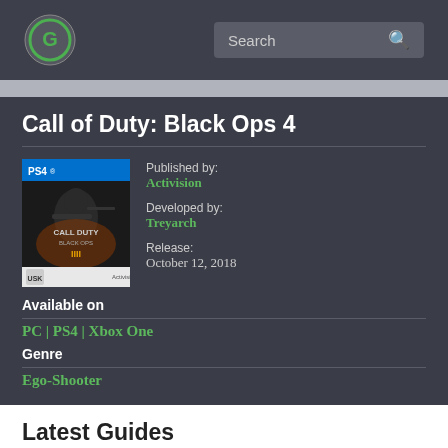Search
Call of Duty: Black Ops 4
[Figure (photo): PS4 game cover of Call of Duty: Black Ops 4 showing a soldier with weapons on a dark background with USK rating label]
Published by:
Activision

Developed by:
Treyarch

Release:
October 12, 2018
Available on
PC | PS4 | Xbox One
Genre
Ego-Shooter
Latest Guides